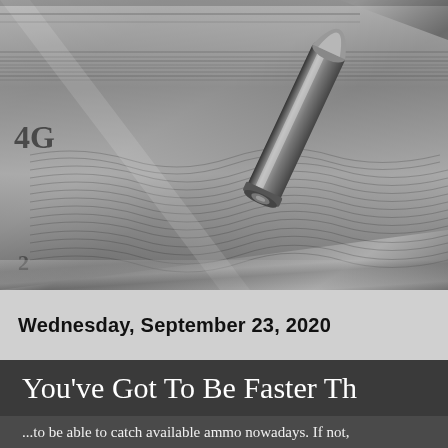[Figure (photo): Black and white close-up photo of US currency bills (showing engraving details including 'G' and '4G' text/seals) with a bullet cartridge resting on top of the money.]
Wednesday, September 23, 2020
You've Got To Be Faster Th
...to be able to catch available ammo nowadays. If not,